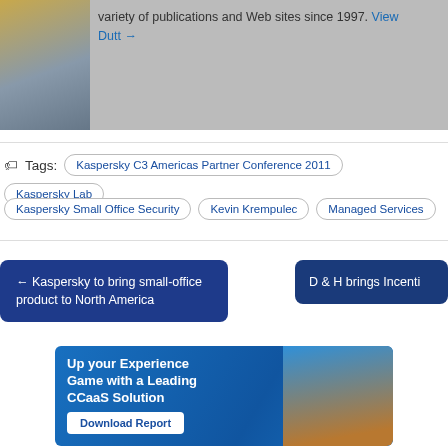[Figure (photo): Top banner with author photo on left and text about variety of publications and Web sites since 1997, with a View Dutt link]
variety of publications and Web sites since 1997. View Dutt →
Tags: Kaspersky C3 Americas Partner Conference 2011  Kaspersky Lab  Kaspersky Small Office Security  Kevin Krempulec  Managed Services
← Kaspersky to bring small-office product to North America
D&H brings Incenti
[Figure (illustration): Advertisement banner: Up your Experience Game with a Leading CCaaS Solution, Download Report button, with a photo of a person]